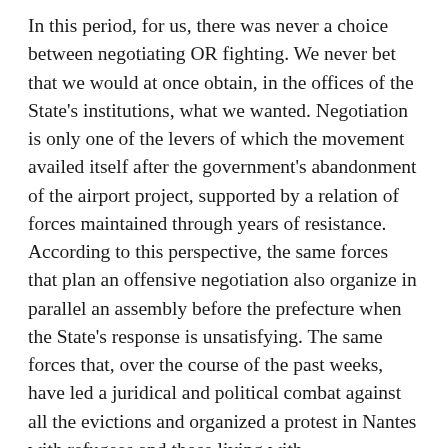In this period, for us, there was never a choice between negotiating OR fighting. We never bet that we would at once obtain, in the offices of the State's institutions, what we wanted. Negotiation is only one of the levers of which the movement availed itself after the government's abandonment of the airport project, supported by a relation of forces maintained through years of resistance. According to this perspective, the same forces that plan an offensive negotiation also organize in parallel an assembly before the prefecture when the State's response is unsatisfying. The same forces that, over the course of the past weeks, have led a juridical and political combat against all the evictions and organized a protest in Nantes with refugees and those living with